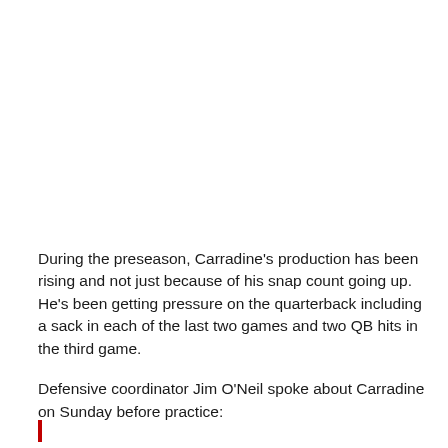During the preseason, Carradine's production has been rising and not just because of his snap count going up. He's been getting pressure on the quarterback including a sack in each of the last two games and two QB hits in the third game.
Defensive coordinator Jim O'Neil spoke about Carradine on Sunday before practice: